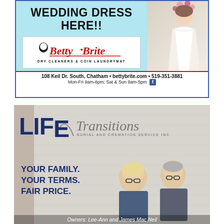[Figure (illustration): Betty Brite Dry Cleaners advertisement with wedding dress text, Betty Brite logo, address and hours]
[Figure (illustration): Life Transitions Burial and Cremation Service Inc. advertisement with two owners, Lee-Ann and James Mac Neil]